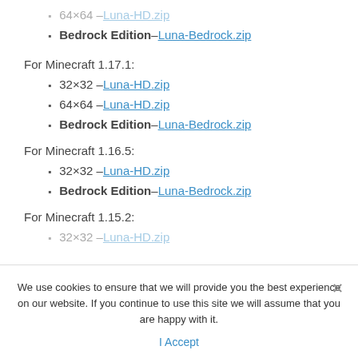64×64 – Luna-HD.zip
Bedrock Edition – Luna-Bedrock.zip
For Minecraft 1.17.1:
32×32 – Luna-HD.zip
64×64 – Luna-HD.zip
Bedrock Edition – Luna-Bedrock.zip
For Minecraft 1.16.5:
32×32 – Luna-HD.zip
Bedrock Edition – Luna-Bedrock.zip
For Minecraft 1.15.2:
32×32 – Luna-HD.zip
We use cookies to ensure that we will provide you the best experience on our website. If you continue to use this site we will assume that you are happy with it.
I Accept